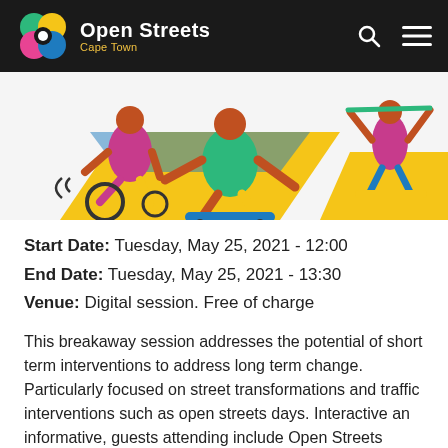Open Streets Cape Town
[Figure (illustration): Colourful illustration showing people being active – a person in a wheelchair, a skateboarder, and someone on a balance board, on a yellow and blue background]
Start Date:  Tuesday, May 25, 2021 - 12:00
End Date:  Tuesday, May 25, 2021 - 13:30
Venue:  Digital session. Free of charge
This breakaway session addresses the potential of short term interventions to address long term change. Particularly focused on street transformations and traffic interventions such as open streets days. Interactive an informative, guests attending include Open Streets Africa Exchange participants sharing experiences and learnings